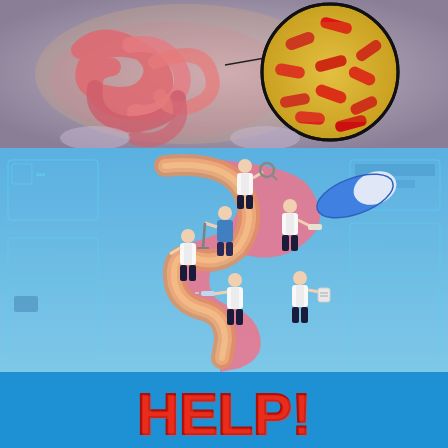[Figure (illustration): Medical illustration of the human intestine/gut with a magnified circular inset showing red bacteria (rod-shaped) on a yellow background, with human torso x-ray style in purple-grey background]
[Figure (illustration): Medical conceptual illustration of multiple doctors in white lab coats working on a stylized gut/intestine shape (pink and orange layered coils) against a blue digital HUD background with medical interface elements, a large blue capsule pill, and doctors performing various treatments]
[Figure (illustration): Blue background with bold 3D red clay-like letters spelling HELP! at the bottom of the page]